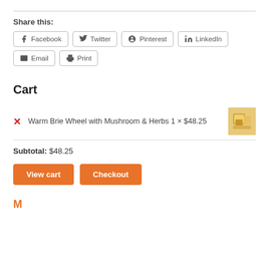Share this:
Facebook  Twitter  Pinterest  LinkedIn  Email  Print
Cart
Warm Brie Wheel with Mushroom & Herbs 1 × $48.25
Subtotal: $48.25
View cart  Checkout